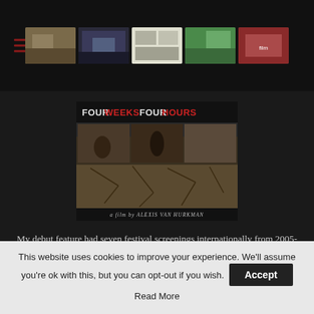[Figure (screenshot): Top navigation bar with hamburger menu icon on the left and a row of film thumbnail images in the center on a dark background]
[Figure (photo): Movie poster for 'Four Weeks Four Hours', a film by Alexis van Hurkman, showing desert scenes and cracked earth]
My debut feature had seven festival screenings internationally from 2005-2008. Two women are stranded in the desert on opposite ends of the earth. When her plane crashes, a photographer on assignment finds herself lost and alone in a war-torn middle-eastern country. Halfway around the world, a car breakdown strands an affluent wife along an abandoned stretch of road in the American southwest. Both women need to walk for help under the blazing desert
This website uses cookies to improve your experience. We'll assume you're ok with this, but you can opt-out if you wish.
Accept
Read More